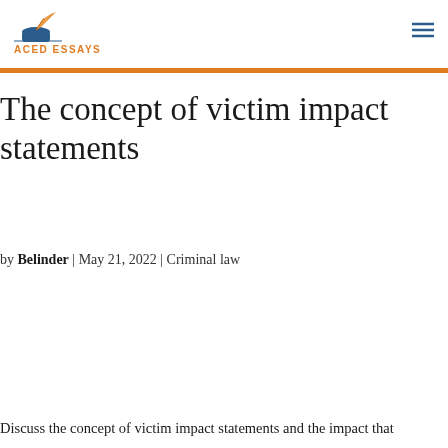ACED ESSAYS
The concept of victim impact statements
by Belinder | May 21, 2022 | Criminal law
Discuss the concept of victim impact statements and the impact that